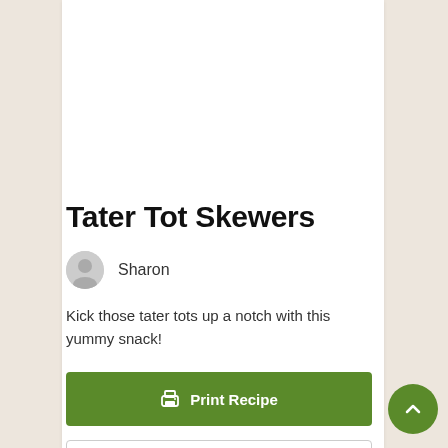Tater Tot Skewers
Sharon
Kick those tater tots up a notch with this yummy snack!
Print Recipe
Pin Recipe